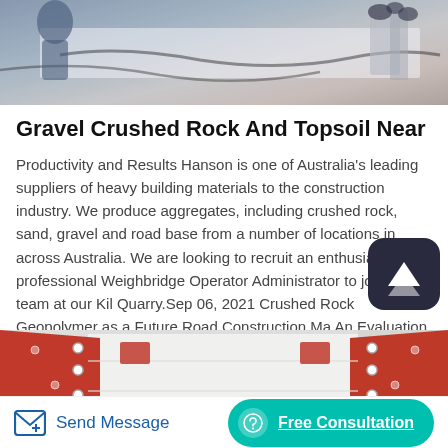[Figure (photo): Top photo showing people working at a site with equipment and cables on a table, partially visible.]
Gravel Crushed Rock And Topsoil Near
Productivity and Results Hanson is one of Australia’s leading suppliers of heavy building materials to the construction industry. We produce aggregates, including crushed rock, sand, gravel and road base from a number of locations in across Australia. We are looking to recruit an enthusiastic and professional Weighbridge Operator Administrator to join the team at our Kil Quarry.Sep 06, 2021 Crushed Rock Geopolymer as a Future Road Construction Ma An Evaluation of Compaction and Strength Characteristics January 2022 DOI 10.1007 978-3-030-77230-7_24.
[Figure (photo): Bottom photo showing red and white industrial crushing or screening machine equipment.]
Send Message   Free Consultation